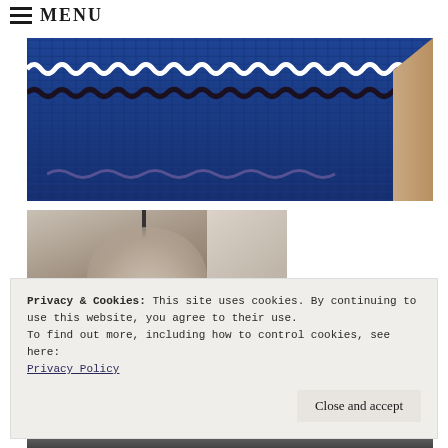≡ MENU
[Figure (photo): Close-up of a blue knitted or woven garment with white and dark ric-rac wavy trim decorations. A hand with a bracelet is visible on the right edge.]
[Figure (photo): Interior photo showing what appears to be a lamp or light fixture against a light background, partially visible.]
Privacy & Cookies: This site uses cookies. By continuing to use this website, you agree to their use.
To find out more, including how to control cookies, see here:
Privacy Policy
Close and accept
[Figure (photo): Partially visible photo at the bottom of the page showing a person smiling.]